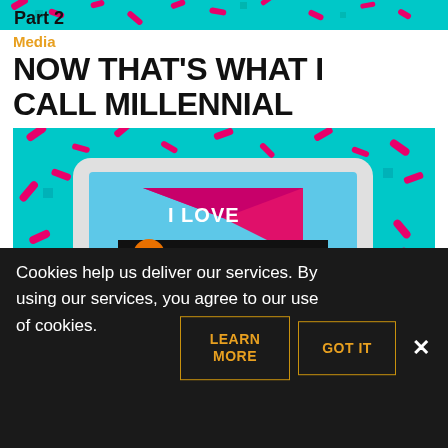[Figure (screenshot): Top banner image with colorful 90s-style design showing 'Part 2' text on teal background with pink confetti]
Media
NOW THAT'S WHAT I CALL MILLENNI AL
[Figure (photo): A tablet/iPad displaying 'I LOVE the 90s' graphic with yellow and pink colors, set against a teal background with pink confetti sprinkles. 'Part 1' text visible in bottom left.]
Having a feeling rather than Marketing
Cookies help us deliver our services. By using our services, you agree to our use of cookies.